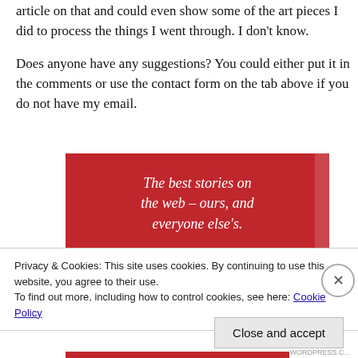article on that and could even show some of the art pieces I did to process the things I went through. I don't know.
Does anyone have any suggestions? You could either put it in the comments or use the contact form on the tab above if you do not have my email.
[Figure (infographic): Red advertisement banner with white italic serif text 'The best stories on the web – ours, and everyone else's.' and a black 'Start reading' button]
Privacy & Cookies: This site uses cookies. By continuing to use this website, you agree to their use.
To find out more, including how to control cookies, see here: Cookie Policy
Close and accept